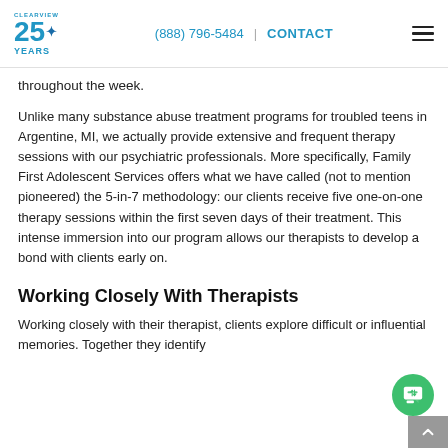CLEARVIEW 25 YEARS | (888) 796-5484 | CONTACT
throughout the week.
Unlike many substance abuse treatment programs for troubled teens in Argentine, MI, we actually provide extensive and frequent therapy sessions with our psychiatric professionals. More specifically, Family First Adolescent Services offers what we have called (not to mention pioneered) the 5-in-7 methodology: our clients receive five one-on-one therapy sessions within the first seven days of their treatment. This intense immersion into our program allows our therapists to develop a bond with clients early on.
Working Closely With Therapists
Working closely with their therapist, clients explore difficult or influential memories. Together they identify